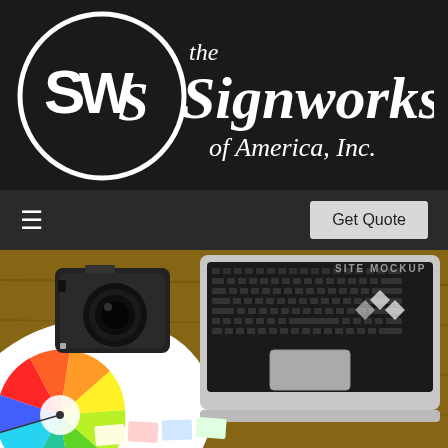[Figure (logo): The Signworks of America, Inc. logo — circular SWS emblem on left, script text 'the Signworks of America, Inc.' on right, all white on black background]
[Figure (screenshot): Navigation bar with hamburger menu icon on left and 'Get Quote' button on right, dark background]
[Figure (photo): Hero photo showing a color wheel, vintage camera, laptop with 'SITE MOCKUP' sticker, and color swatches on a wooden desk surface]